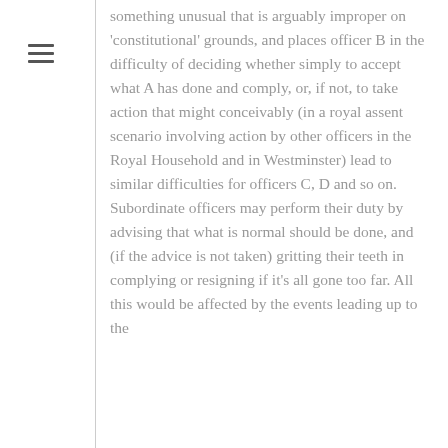something unusual that is arguably improper on 'constitutional' grounds, and places officer B in the difficulty of deciding whether simply to accept what A has done and comply, or, if not, to take action that might conceivably (in a royal assent scenario involving action by other officers in the Royal Household and in Westminster) lead to similar difficulties for officers C, D and so on. Subordinate officers may perform their duty by advising that what is normal should be done, and (if the advice is not taken) gritting their teeth in complying or resigning if it's all gone too far. All this would be affected by the events leading up to the